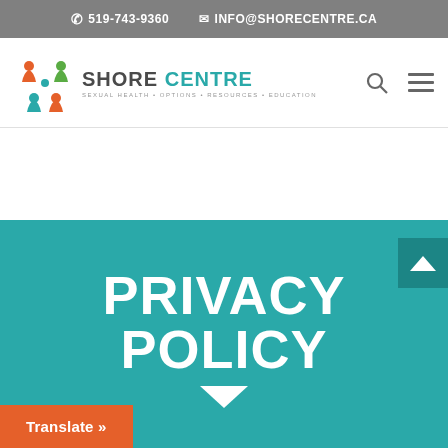519-743-9360  INFO@SHORECENTRE.CA
[Figure (logo): Shore Centre logo with colourful icon and text: SHORE CENTRE, Sexual Health Options Resources Education]
PRIVACY POLICY
Translate »